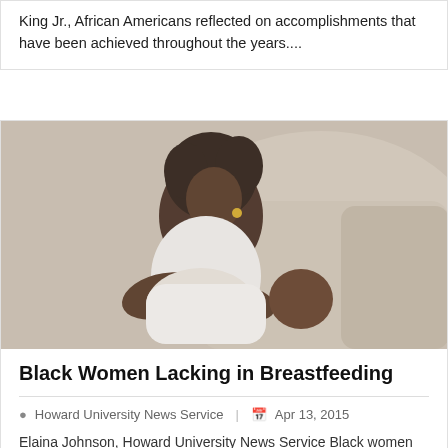King Jr., African Americans reflected on accomplishments that have been achieved throughout the years....
[Figure (photo): A Black woman sitting on a beige sofa, wearing a white tank top, breastfeeding a newborn baby dressed in white.]
Black Women Lacking in Breastfeeding
Howard University News Service  |  Apr 13, 2015
Elaina Johnson, Howard University News Service Black women are less likely than any other group – such as white